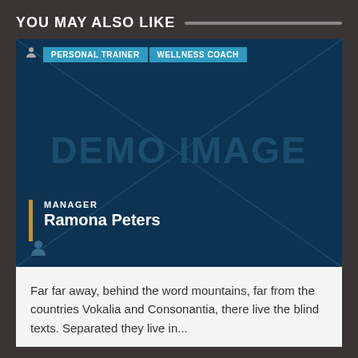YOU MAY ALSO LIKE
[Figure (illustration): A card with dark blue background showing a demo image placeholder with diagonal X lines, 'DEMO IMAGE' watermark text, tags 'PERSONAL TRAINER' and 'WELLNESS COACH' at the top, a person icon, and at the bottom a gold vertical bar with 'MANAGER' label and 'Ramona Peters' name, plus a person silhouette icon at the bottom left.]
Far far away, behind the word mountains, far from the countries Vokalia and Consonantia, there live the blind texts. Separated they live in...